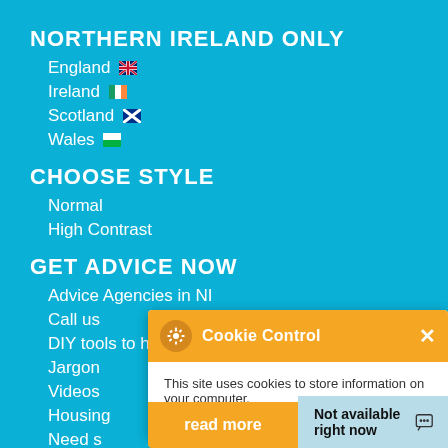NORTHERN IRELAND ONLY
England
Ireland
Scotland
Wales
CHOOSE STYLE
Normal
High Contrast
GET ADVICE NOW
Advice Agencies in NI
Call us
DIY tools to help
Jargon
Videos
Housing
Need s
Links
ABOUT
[Figure (screenshot): Cookie Control popup overlay with orange header showing gear icon and 'Cookie Control' title with X close button, white body with text 'This site uses cookies to store information on your computer.' and 'About this tool' link in orange]
read more
Not available right now